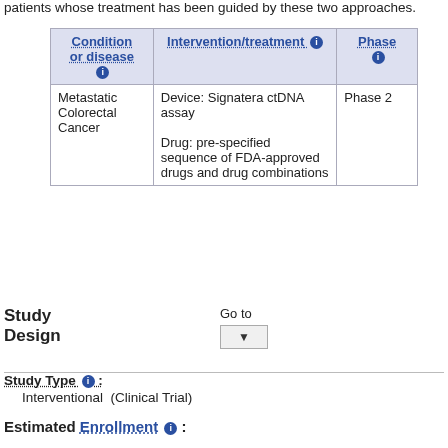patients whose treatment has been guided by these two approaches.
| Condition or disease ℹ | Intervention/treatment ℹ | Phase ℹ |
| --- | --- | --- |
| Metastatic Colorectal Cancer | Device: Signatera ctDNA assay

Drug: pre-specified sequence of FDA-approved drugs and drug combinations | Phase 2 |
Study Design
Go to
Study Type ℹ :
Interventional  (Clinical Trial)
Estimated Enrollment ℹ :